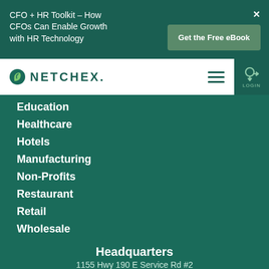CFO + HR Toolkit - How CFOs Can Enable Growth with HR Technology
Get the Free eBook
[Figure (logo): Netchex logo with green leaf-shaped N icon and NETCHEX. wordmark in dark teal]
Education
Healthcare
Hotels
Manufacturing
Non-Profits
Restaurant
Retail
Wholesale
Headquarters
1155 Hwy 190 E Service Rd #2